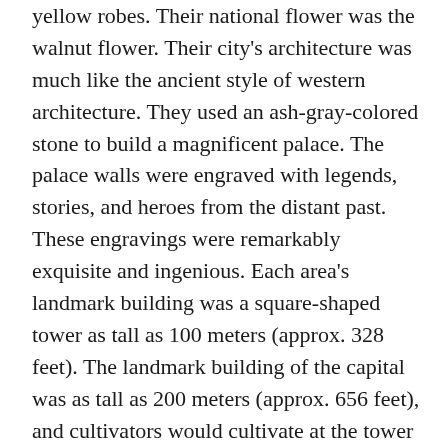yellow robes. Their national flower was the walnut flower. Their city's architecture was much like the ancient style of western architecture. They used an ash-gray-colored stone to build a magnificent palace. The palace walls were engraved with legends, stories, and heroes from the distant past. These engravings were remarkably exquisite and ingenious. Each area's landmark building was a square-shaped tower as tall as 100 meters (approx. 328 feet). The landmark building of the capital was as tall as 200 meters (approx. 656 feet), and cultivators would cultivate at the tower top. These towers were also used to observe the movements of constellations and hold grand religious ceremonies. The Apollo era was the peak of the white people's divinely-imparted civilization. Emissaries from every continent were sent to Atlantis to learn advanced technology. Merchants would bring back to their countries the finest handiwork, fabrics, medical technology, medicine, plants, animals, and so on. There was an interesting phenomenon at the time in which the species of plants and animals brought back from Atlantis would